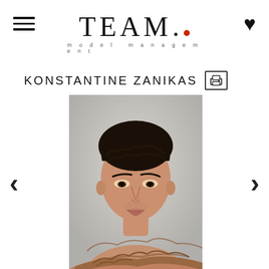TEAM. model management
KONSTANTINE ZANIKAS
[Figure (photo): Close-up portrait of male model Konstantine Zanikas, dark curly hair, intense gaze, tattooed chest/arms visible, against a light grey background.]